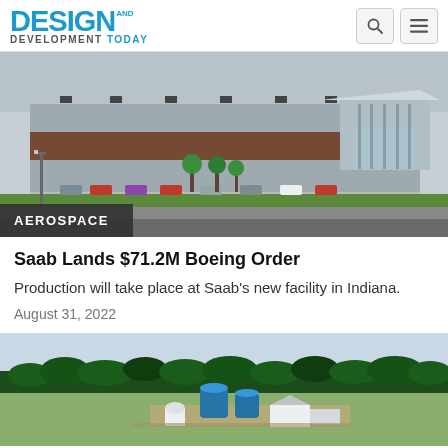DESIGN AND DEVELOPMENT TODAY
[Figure (photo): Exterior view of a large industrial/aerospace facility building with a parking lot, green lawn, and trees in front. Modern architecture with glass entrance.]
AEROSPACE
Saab Lands $71.2M Boeing Order
Production will take place at Saab's new facility in Indiana.
August 31, 2022
[Figure (photo): Aerial view of an industrial facility surrounded by dense forest, with blue cylindrical tanks and white structures visible.]